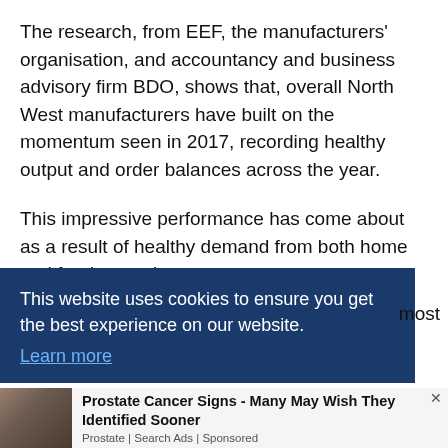The research, from EEF, the manufacturers' organisation, and accountancy and business advisory firm BDO, shows that, overall North West manufacturers have built on the momentum seen in 2017, recording healthy output and order balances across the year.
This impressive performance has come about as a result of healthy demand from both home and foreign markets.
This website uses cookies to ensure you get the best experience on our website. Learn more
most
[Figure (photo): Photo of a man with an angry expression, grey beard, partially visible]
Prostate Cancer Signs - Many May Wish They Identified Sooner
Prostate | Search Ads | Sponsored